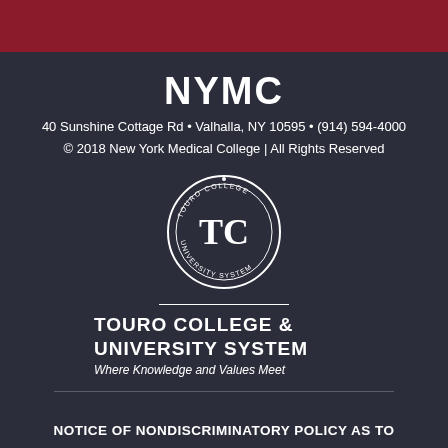NYMC
40 Sunshine Cottage Rd • Valhalla, NY 10595 • (914) 594-4000
© 2018 New York Medical College | All Rights Reserved
[Figure (logo): Touro College & University System circular seal logo with TC monogram]
TOURO COLLEGE &
UNIVERSITY SYSTEM
Where Knowledge and Values Meet
NOTICE OF NONDISCRIMINATORY POLICY AS TO STUDENTS